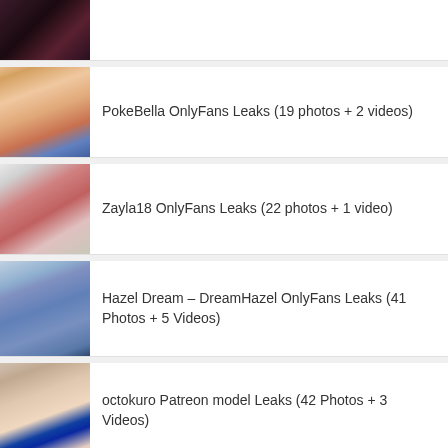[Figure (photo): Partial thumbnail of first item, dark toned image]
[Figure (photo): Thumbnail of PokeBella, woman in pink outfit]
PokeBella OnlyFans Leaks (19 photos + 2 videos)
[Figure (photo): Thumbnail of Zayla18, blonde woman in pink top]
Zayla18 OnlyFans Leaks (22 photos + 1 video)
[Figure (photo): Thumbnail of Hazel Dream, woman in blue shorts]
Hazel Dream – DreamHazel OnlyFans Leaks (41 Photos + 5 Videos)
[Figure (photo): Thumbnail of octokuro, woman in blue outfit]
octokuro Patreon model Leaks (42 Photos + 3 Videos)